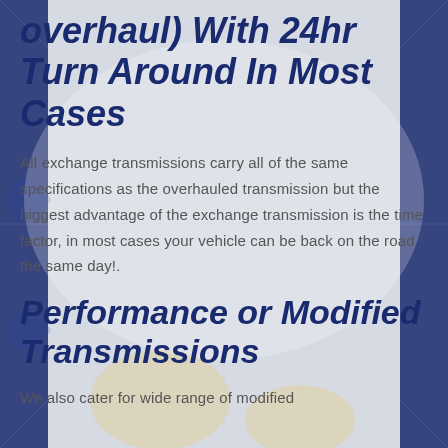overhaul) With 24hr Turn Around In Most Cases
All exchange transmissions carry all of the same specifications as the overhauled transmission but the biggest advantage of the exchange transmission is the time factor, in most cases your vehicle can be back on the road the same day!.
Performance or Modified Transmissions
We also cater for wide range of modified